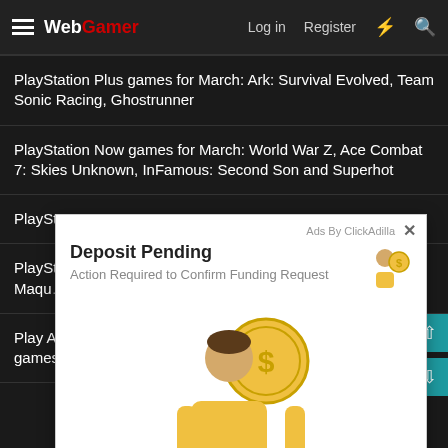WebGamer — Log in  Register
PlayStation Plus games for March: Ark: Survival Evolved, Team Sonic Racing, Ghostrunner
PlayStation Now games for March: World War Z, Ace Combat 7: Skies Unknown, InFamous: Second Son and Superhot
PlaySt...
PlaySt... ake, Maque...
Play A... n games
[Figure (infographic): Ad overlay popup: 'Deposit Pending — Action Required to Confirm Funding Request' with a yellow illustrated person holding a coin with a dollar sign. Ad by ClickAdilla with close button. Timestamp: 2sd.]